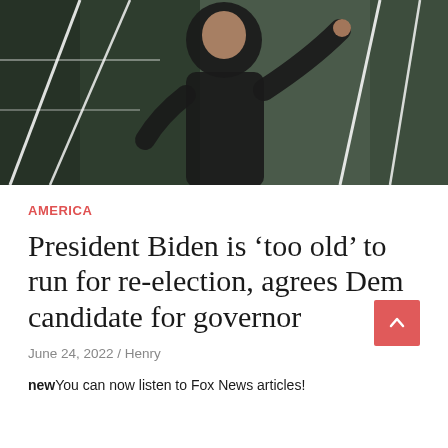[Figure (photo): Photograph of President Biden in a dark jacket pointing with one finger, standing in front of a green military aircraft with white ropes/handrails visible in the background.]
AMERICA
President Biden is ‘too old’ to run for re-election, agrees Dem candidate for governor
June 24, 2022 / Henry
newYou can now listen to Fox News articles!